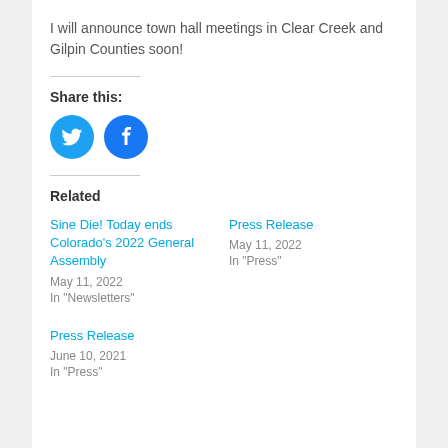I will announce town hall meetings in Clear Creek and Gilpin Counties soon!
Share this:
[Figure (infographic): Twitter and Facebook social share icon buttons (blue circles with white icons)]
Related
Sine Die! Today ends Colorado's 2022 General Assembly
May 11, 2022
In "Newsletters"
Press Release
May 11, 2022
In "Press"
Press Release
June 10, 2021
In "Press"